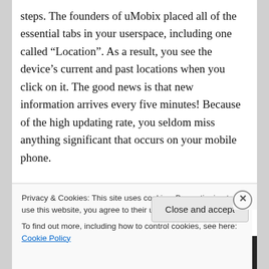steps. The founders of uMobix placed all of the essential tabs in your userspace, including one called “Location”. As a result, you see the device’s current and past locations when you click on it. The good news is that new information arrives every five minutes! Because of the high updating rate, you seldom miss anything significant that occurs on your mobile phone.
Many people believe that geolocation
Privacy & Cookies: This site uses cookies. By continuing to use this website, you agree to their use.
To find out more, including how to control cookies, see here: Cookie Policy